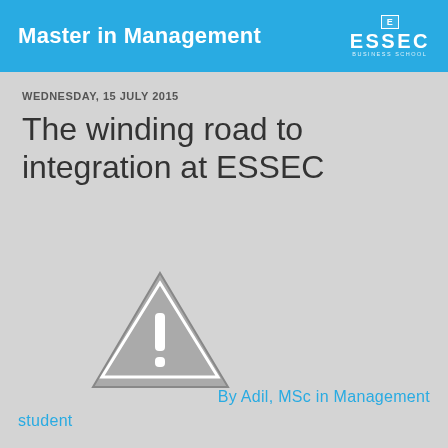Master in Management
WEDNESDAY, 15 JULY 2015
The winding road to integration at ESSEC
[Figure (illustration): Warning triangle icon with exclamation mark]
By Adil, MSc in Management student